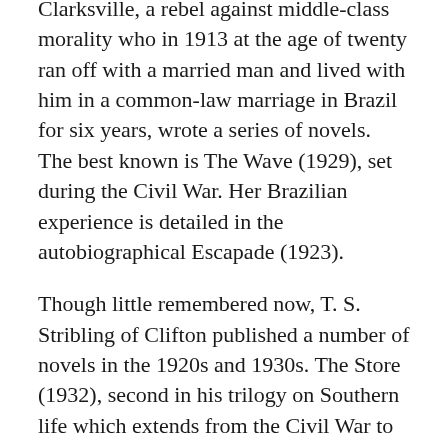Clarksville, a rebel against middle-class morality who in 1913 at the age of twenty ran off with a married man and lived with him in a common-law marriage in Brazil for six years, wrote a series of novels. The best known is The Wave (1929), set during the Civil War. Her Brazilian experience is detailed in the autobiographical Escapade (1923).
Though little remembered now, T. S. Stribling of Clifton published a number of novels in the 1920s and 1930s. The Store (1932), second in his trilogy on Southern life which extends from the Civil War to the 1920s, received the first Pulitzer Prize awarded to a Tennessean. Another almost-forgotten novelist of the time was Harry Harrison Kroll; the most noted of his twenty novels is Cabin in the Cotton (1931), which was made into a film starring Bette Davis.